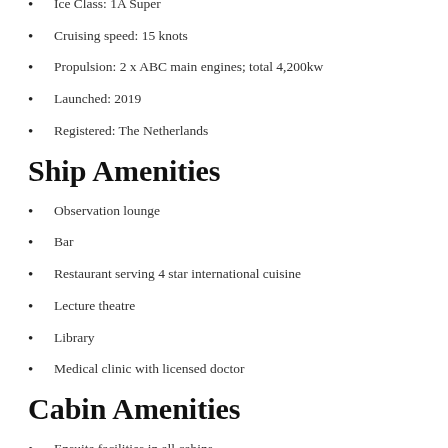Beam: 17.6 metres (57 feet)
Ice Class: 1A Super
Cruising speed: 15 knots
Propulsion: 2 x ABC main engines; total 4,200kw
Launched: 2019
Registered: The Netherlands
Ship Amenities
Observation lounge
Bar
Restaurant serving 4 star international cuisine
Lecture theatre
Library
Medical clinic with licensed doctor
Cabin Amenities
Ensuite facilities in all cabins